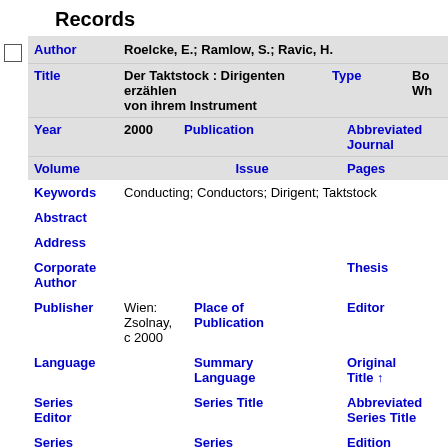Records
| Field | Value | Field2 | Value2 |
| --- | --- | --- | --- |
| Author | Roelcke, E.; Ramlow, S.; Ravic, H. |  |  |
| Title | Der Taktstock : Dirigenten erzählen von ihrem Instrument | Type | Bo...Wh... |
| Year | 2000 | Publication |  | Abbreviated Journal |  |
| Volume |  | Issue |  | Pages |  |
| Keywords | Conducting; Conductors; Dirigent; Taktstock |  |  |
| Abstract |  |  |  |
| Address |  |  |  |
| Corporate Author |  |  | Thesis |  |
| Publisher | Wien: Zsolnay, c 2000 | Place of Publication |  | Editor |  |
| Language |  | Summary Language |  | Original Title ↑ |  |
| Series Editor |  | Series Title |  | Abbreviated Series Title |  |
| Series |  | Series |  | Edition |  |